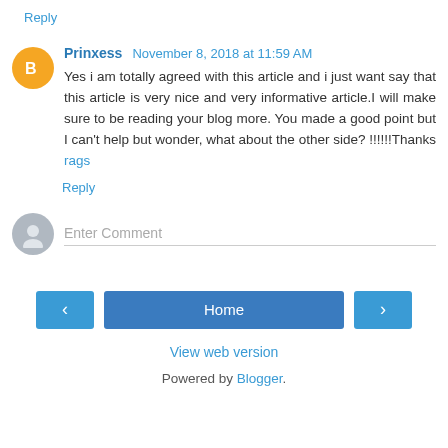Reply
Prinxess  November 8, 2018 at 11:59 AM
Yes i am totally agreed with this article and i just want say that this article is very nice and very informative article.I will make sure to be reading your blog more. You made a good point but I can't help but wonder, what about the other side? !!!!!!Thanks rags
Reply
Enter Comment
Home
View web version
Powered by Blogger.